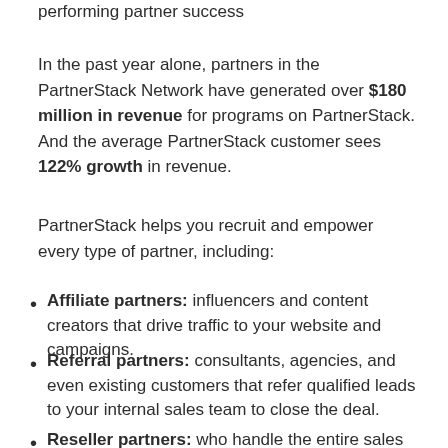performing partner success
In the past year alone, partners in the PartnerStack Network have generated over $180 million in revenue for programs on PartnerStack. And the average PartnerStack customer sees 122% growth in revenue.
PartnerStack helps you recruit and empower every type of partner, including:
Affiliate partners: influencers and content creators that drive traffic to your website and campaigns.
Referral partners: consultants, agencies, and even existing customers that refer qualified leads to your internal sales team to close the deal.
Reseller partners: who handle the entire sales process and close deals on their own while working with your